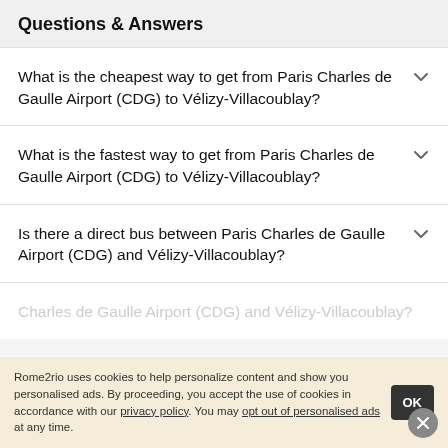Questions & Answers
What is the cheapest way to get from Paris Charles de Gaulle Airport (CDG) to Vélizy-Villacoublay?
What is the fastest way to get from Paris Charles de Gaulle Airport (CDG) to Vélizy-Villacoublay?
Is there a direct bus between Paris Charles de Gaulle Airport (CDG) and Vélizy-Villacoublay?
Rome2rio uses cookies to help personalize content and show you personalised ads. By proceeding, you accept the use of cookies in accordance with our privacy policy. You may opt out of personalised ads at any time.